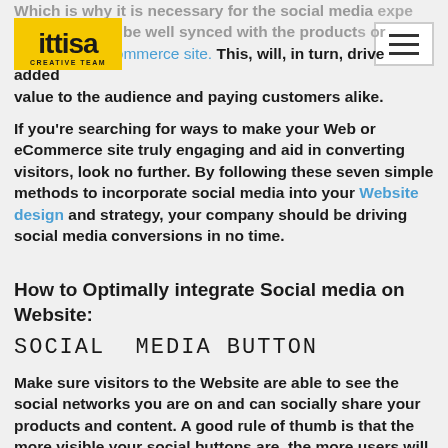ittisa (logo) | hamburger menu
Which is why it is necessary for the social media experts to be well synced with the products or services on ecommerce site. This, will, in turn, drive added value to the audience and paying customers alike.
If you're searching for ways to make your Web or eCommerce site truly engaging and aid in converting visitors, look no further. By following these seven simple methods to incorporate social media into your Website design and strategy, your company should be driving social media conversions in no time.
How to Optimally integrate Social media on Website:
SOCIAL MEDIA BUTTON
Make sure visitors to the Website are able to see the social networks you are on and can socially share your products and content. A good rule of thumb is that the more visible your social buttons are, the more users will interact with them.